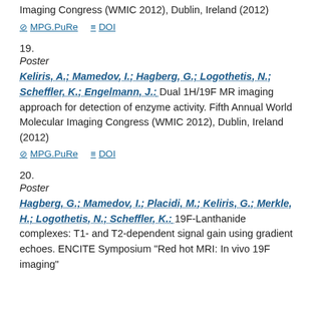Imaging Congress (WMIC 2012), Dublin, Ireland (2012)
MPG.PuRe   DOI
19.
Poster
Keliris, A.; Mamedov, I.; Hagberg, G.; Logothetis, N.; Scheffler, K.; Engelmann, J.: Dual 1H/19F MR imaging approach for detection of enzyme activity. Fifth Annual World Molecular Imaging Congress (WMIC 2012), Dublin, Ireland (2012)
MPG.PuRe   DOI
20.
Poster
Hagberg, G.; Mamedov, I.; Placidi, M.; Keliris, G.; Merkle, H.; Logothetis, N.; Scheffler, K.: 19F-Lanthanide complexes: T1- and T2-dependent signal gain using gradient echoes. ENCITE Symposium "Red hot MRI: In vivo 19F imaging"